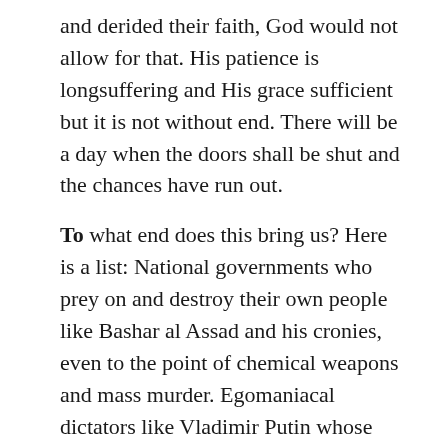and derided their faith, God would not allow for that. His patience is longsuffering and His grace sufficient but it is not without end. There will be a day when the doors shall be shut and the chances have run out.
To what end does this bring us? Here is a list: National governments who prey on and destroy their own people like Bashar al Assad and his cronies, even to the point of chemical weapons and mass murder. Egomaniacal dictators like Vladimir Putin whose demented mind at the age of a young teen even longed to be a KGB agent to strike fear into the hearts of those who trusted him. Inept novice rulers, like those atop the Ukrainian political rubble.